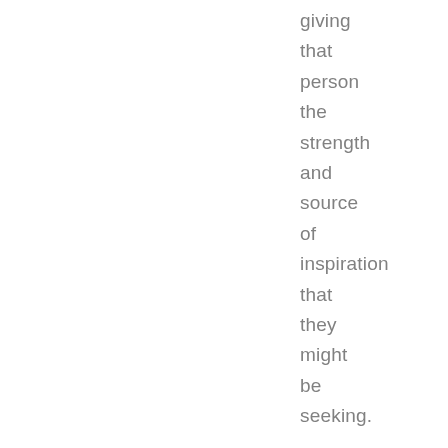giving that person the strength and source of inspiration that they might be seeking.